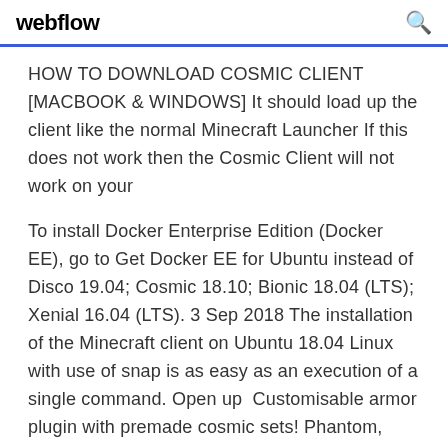webflow
HOW TO DOWNLOAD COSMIC CLIENT [MACBOOK & WINDOWS] It should load up the client like the normal Minecraft Launcher If this does not work then the Cosmic Client will not work on your
To install Docker Enterprise Edition (Docker EE), go to Get Docker EE for Ubuntu instead of Disco 19.04; Cosmic 18.10; Bionic 18.04 (LTS); Xenial 16.04 (LTS). 3 Sep 2018 The installation of the Minecraft client on Ubuntu 18.04 Linux with use of snap is as easy as an execution of a single command. Open up  Customisable armor plugin with premade cosmic sets! Phantom,